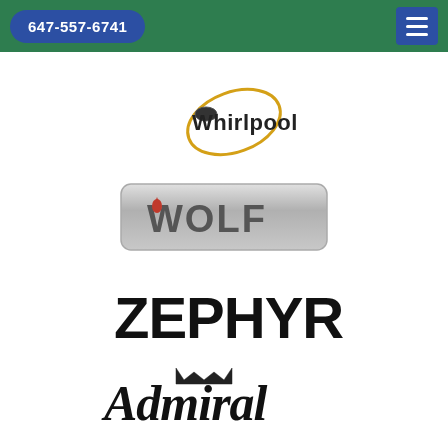647-557-6741
[Figure (logo): Whirlpool brand logo with gold orbit ellipse and wordmark]
[Figure (logo): Wolf brand logo: silver metallic rounded rectangle with WOLF text and flame icon]
[Figure (logo): ZEPHYR brand logo in bold black capitals]
[Figure (logo): Admiral brand logo in bold italic script with crown icon]